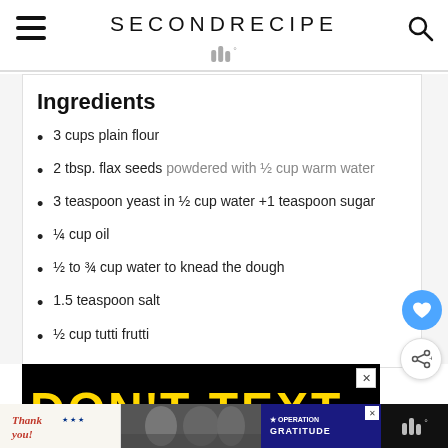SECONDRECIPE
Ingredients
3 cups plain flour
2 tbsp. flax seeds powdered with ½ cup warm water
3 teaspoon yeast in ½ cup water +1 teaspoon sugar
¼ cup oil
½ to ¾ cup water to knead the dough
1.5 teaspoon salt
½ cup tutti frutti
[Figure (screenshot): Advertisement banner showing bold yellow text 'DON'T TEXT' on black background]
Advertisement footer bar with 'Thank you' Operation Gratitude ad